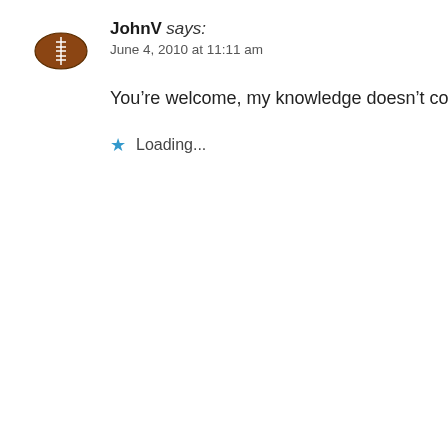[Figure (illustration): Brown football avatar icon with white laces and hash marks]
JohnV says:
June 4, 2010 at 11:11 am
You’re welcome, my knowledge doesn’t come in handy
★ Loading...